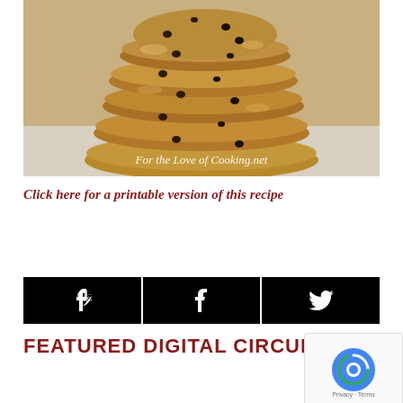[Figure (photo): Stack of chocolate chip cookies with watermark 'For the Love of Cooking.net']
Click here for a printable version of this recipe
[Figure (infographic): Three social share buttons: Pinterest (P), Facebook (f), Twitter (bird icon)]
FEATURED DIGITAL CIRCULAR DE...